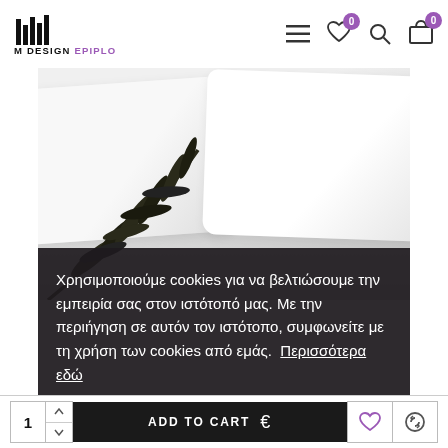M DESIGN EPIPLO — navigation header with menu, wishlist (0), search, cart (0) icons
[Figure (photo): White pillow and bedding product photo with dark olive branch in foreground, grey/white background]
Χρησιμοποιούμε cookies για να βελτιώσουμε την εμπειρία σας στον ιστότοπό μας. Με την περιήγηση σε αυτόν τον ιστότοπο, συμφωνείτε με τη χρήση των cookies από εμάς.  Περισσότερα εδώ
1  ADD TO CART  €  [wishlist icon]  [compare icon]